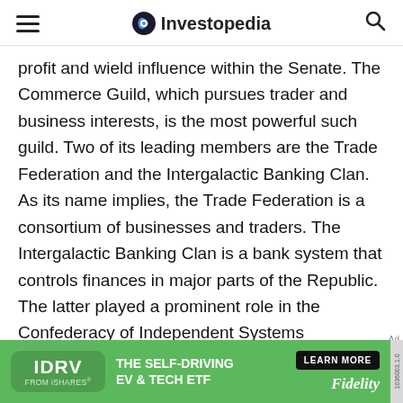Investopedia
profit and wield influence within the Senate. The Commerce Guild, which pursues trader and business interests, is the most powerful such guild. Two of its leading members are the Trade Federation and the Intergalactic Banking Clan. As its name implies, the Trade Federation is a consortium of businesses and traders. The Intergalactic Banking Clan is a bank system that controls finances in major parts of the Republic. The latter played a prominent role in the Confederacy of Independent Systems (otherwise known as the Separatist Alliance) that broke away from the Republic during the Clone Wars. Both organizations supported Darth Sidious without
[Figure (other): IDRV from iShares advertisement banner — The Self-Driving EV & Tech ETF, Fidelity, Learn More button]